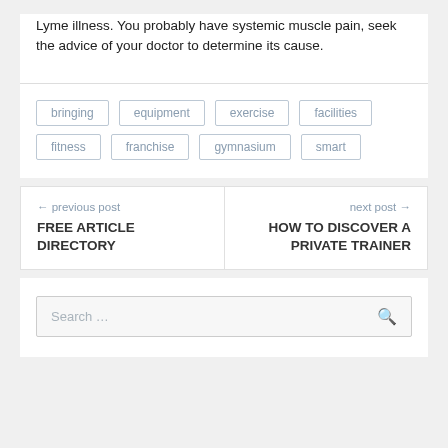Lyme illness. You probably have systemic muscle pain, seek the advice of your doctor to determine its cause.
bringing
equipment
exercise
facilities
fitness
franchise
gymnasium
smart
← previous post FREE ARTICLE DIRECTORY
next post → HOW TO DISCOVER A PRIVATE TRAINER
Search …